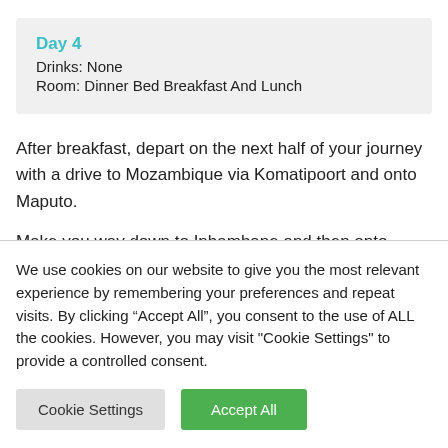Day 4
Drinks: None
Room: Dinner Bed Breakfast And Lunch
After breakfast, depart on the next half of your journey with a drive to Mozambique via Komatipoort and onto Maputo.
Make you way down to Inhambane and then onto
We use cookies on our website to give you the most relevant experience by remembering your preferences and repeat visits. By clicking “Accept All”, you consent to the use of ALL the cookies. However, you may visit "Cookie Settings" to provide a controlled consent.
Cookie Settings | Accept All